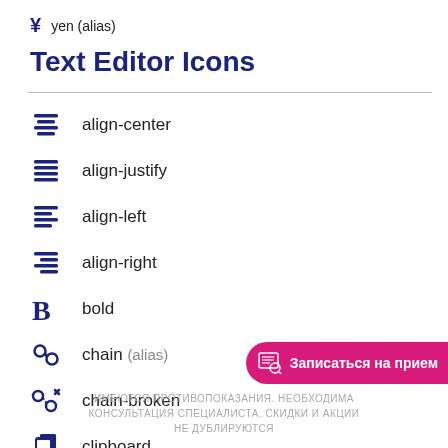¥  yen (alias)
Text Editor Icons
align-center
align-justify
align-left
align-right
bold
chain (alias)
chain-broken
clipboard
Записаться на прием
ИМЕЮТСЯ ПРОТИВОПОКАЗАНИЯ. НЕОБХОДИМА КОНСУЛЬТАЦИЯ СПЕЦИАЛИСТА. СКИДКИ И АКЦИИ НЕ ДУБЛИРУЮТСЯ